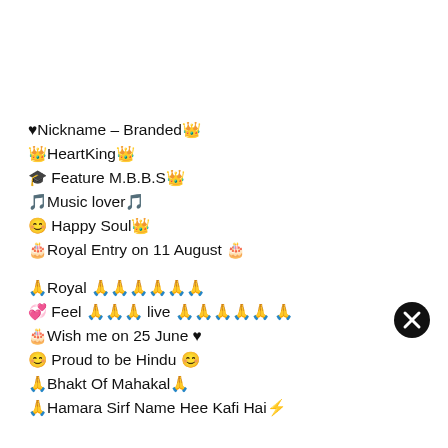♥Nickname – Branded👑
👑HeartKing👑
🎓 Feature M.B.B.S👑
🎵Music lover🎵
😊 Happy Soul👑
🎂Royal Entry on 11 August 🎂
🙏Royal 🙏🙏🙏🙏🙏🙏
💞 Feel 🙏🙏🙏 live 🙏🙏🙏🙏🙏 🙏
🎂Wish me on 25 June ♥
😊 Proud to be Hindu 😊
🙏Bhakt Of Mahakal🙏
🙏Hamara Sirf Name Hee Kafi Hai⚡